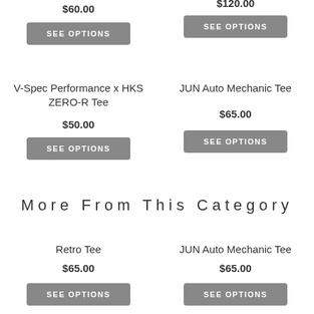$60.00
SEE OPTIONS
$120.00
SEE OPTIONS
V-Spec Performance x HKS ZERO-R Tee
$50.00
SEE OPTIONS
JUN Auto Mechanic Tee
$65.00
SEE OPTIONS
More From This Category
Retro Tee
$65.00
SEE OPTIONS
JUN Auto Mechanic Tee
$65.00
SEE OPTIONS